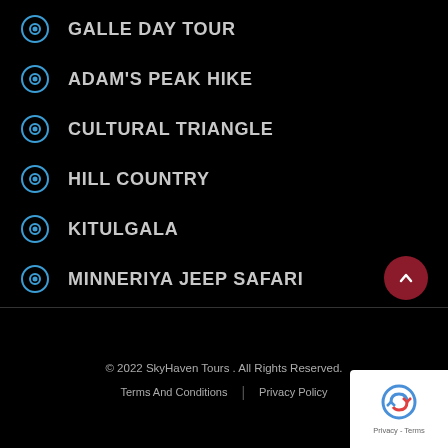GALLE DAY TOUR
ADAM'S PEAK HIKE
CULTURAL TRIANGLE
HILL COUNTRY
KITULGALA
MINNERIYA JEEP SAFARI
© 2022 SkyHaven Tours . All Rights Reserved.
Terms And Conditions | Privacy Policy